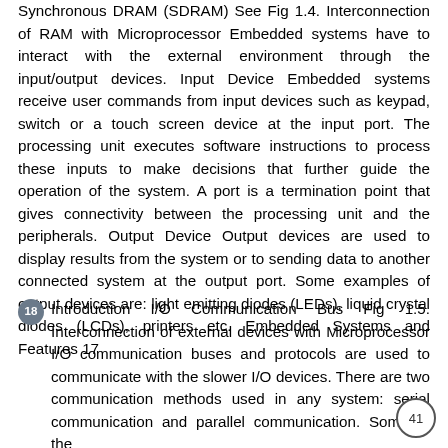Synchronous DRAM (SDRAM) See Fig 1.4. Interconnection of RAM with Microprocessor Embedded systems have to interact with the external environment through the input/output devices. Input Device Embedded systems receive user commands from input devices such as keypad, switch or a touch screen device at the input port. The processing unit executes software instructions to process these inputs to make decisions that further guide the operation of the system. A port is a termination point that gives connectivity between the processing unit and the peripherals. Output Device Output devices are used to display results from the system or to sending data to another connected system at the output port. Some examples of output devices are: light emitting diodes (LEDs), liquid crystal diodes (LCDs), printers etc. Embedded Systems and Features 17
18 Introduction I/O Communication Bus Fig 1.5. Interconnection of external devices with Microprocessor I/O communication buses and protocols are used to communicate with the slower I/O devices. There are two communication methods used in any system: serial communication and parallel communication. Some of the